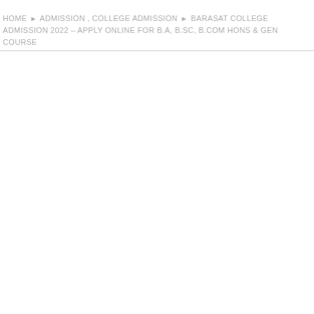HOME ▶ ADMISSION , COLLEGE ADMISSION ▶ BARASAT COLLEGE ADMISSION 2022 – APPLY ONLINE FOR B.A, B.SC, B.COM HONS & GEN COURSE